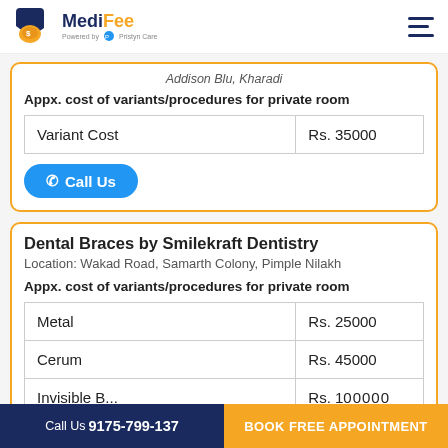MediFee - Powered by Pristyn Care
Addison Blu, Kharadi
Appx. cost of variants/procedures for private room
| Variant Cost | Rs. 35000 |
| --- | --- |
| Variant Cost | Rs. 35000 |
Call Us
Dental Braces by Smilekraft Dentistry
Location: Wakad Road, Samarth Colony, Pimple Nilakh
Appx. cost of variants/procedures for private room
| Variant | Cost |
| --- | --- |
| Metal | Rs. 25000 |
| Cerum | Rs. 45000 |
| Invisible B... | Rs. 100000+ |
Call Us 9175-799-137 | BOOK FREE APPOINTMENT